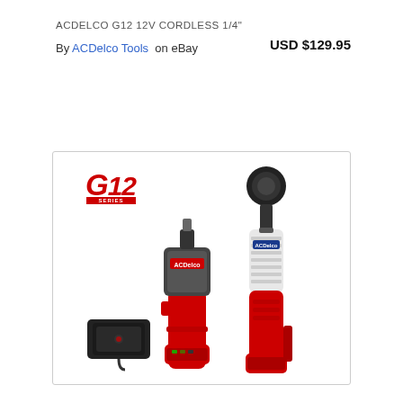ACDELCO G12 12V CORDLESS 1/4"
By ACDelco Tools on eBay
USD $129.95
[Figure (photo): ACDelco G12 12V cordless tool set including a cordless impact driver, cordless ratchet wrench, and battery charger, displayed with red/black and white/red color schemes, with the G12 Series logo in red at the top left of the image box.]